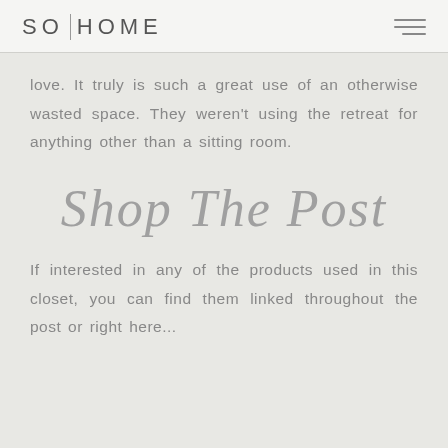SO|HOME
love. It truly is such a great use of an otherwise wasted space. They weren't using the retreat for anything other than a sitting room.
SHOP THE POST
If interested in any of the products used in this closet, you can find them linked throughout the post or right here...